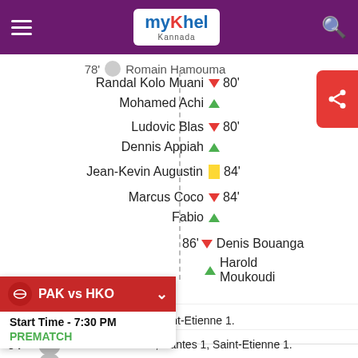myKhel Kannada
78' Romain Hamouma
Randal Kolo Muani ▼ 80'
Mohamed Achi ▲
Ludovic Blas ▼ 80'
Dennis Appiah ▲
Jean-Kevin Augustin 🟨 84'
Marcus Coco ▼ 84'
Fabio ▲
86' ▼ Denis Bouanga
▲ Harold Moukoudi
PAK vs HKO
Start Time - 7:30 PM
PREMATCH
Match ends, Nantes 1, Saint-Etienne 1.
94' Second Half ends, Nantes 1, Saint-Etienne 1.
93' Foul by Osman Bukari (Nantes).